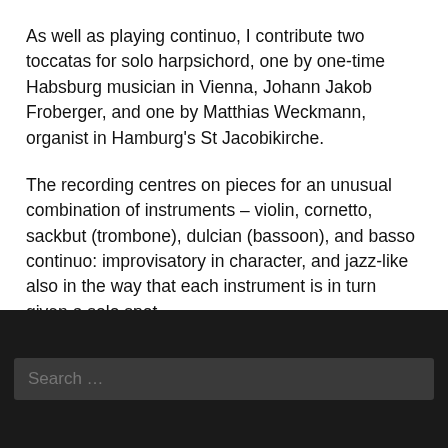As well as playing continuo, I contribute two toccatas for solo harpsichord, one by one-time Habsburg musician in Vienna, Johann Jakob Froberger, and one by Matthias Weckmann, organist in Hamburg's St Jacobikirche.
The recording centres on pieces for an unusual combination of instruments – violin, cornetto, sackbut (trombone), dulcian (bassoon), and basso continuo: improvisatory in character, and jazz-like also in the way that each instrument is in turn given a solo spot.
Search ...